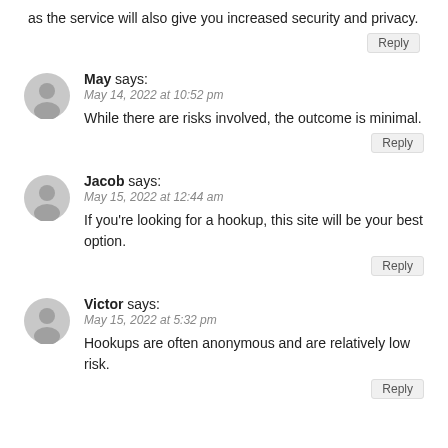as the service will also give you increased security and privacy.
Reply
May says:
May 14, 2022 at 10:52 pm
While there are risks involved, the outcome is minimal.
Reply
Jacob says:
May 15, 2022 at 12:44 am
If you're looking for a hookup, this site will be your best option.
Reply
Victor says:
May 15, 2022 at 5:32 pm
Hookups are often anonymous and are relatively low risk.
Reply